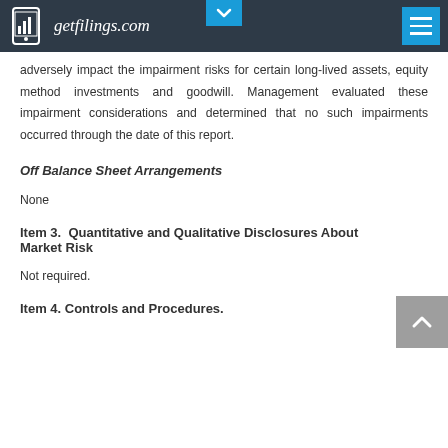getfilings.com
adversely impact the impairment risks for certain long-lived assets, equity method investments and goodwill. Management evaluated these impairment considerations and determined that no such impairments occurred through the date of this report.
Off Balance Sheet Arrangements
None
Item 3.  Quantitative and Qualitative Disclosures About Market Risk
Not required.
Item 4. Controls and Procedures.